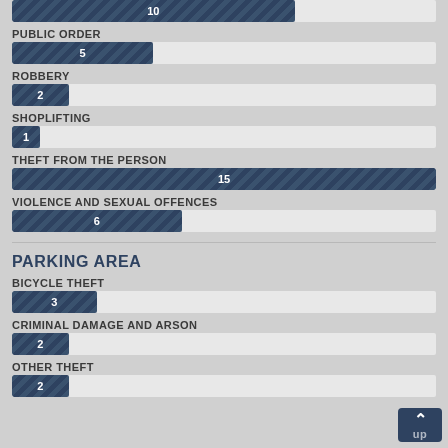[Figure (bar-chart): Crime categories (top section)]
PARKING AREA
[Figure (bar-chart): Parking Area Crime]